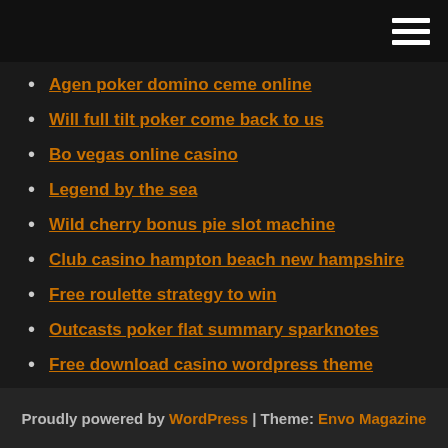[hamburger menu icon]
Agen poker domino ceme online
Will full tilt poker come back to us
Bo vegas online casino
Legend by the sea
Wild cherry bonus pie slot machine
Club casino hampton beach new hampshire
Free roulette strategy to win
Outcasts poker flat summary sparknotes
Free download casino wordpress theme
Sosua bay grand casino dominican republic
Why is blackjack called pontoon
Proudly powered by WordPress | Theme: Envo Magazine